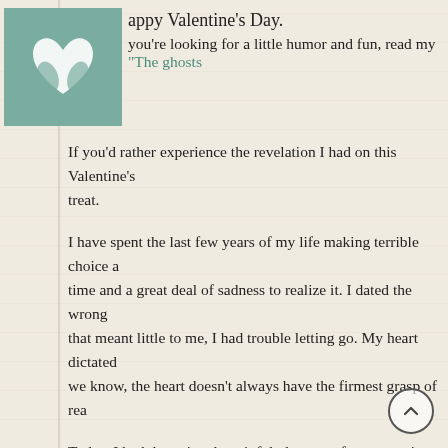[Figure (logo): Teal/green square logo with a stylized heart/leaf design in white]
appy Valentine's Day.
you're looking for a little humor and fun, read my "The ghosts
If you'd rather experience the revelation I had on this Valentine's treat.
I have spent the last few years of my life making terrible choice a time and a great deal of sadness to realize it. I dated the wrong that meant little to me, I had trouble letting go. My heart dictated we know, the heart doesn't always have the firmest grasp of rea
Today, I had the uniquely painful pleasure of encountering a pho despite being decidedly present. It was like a simultaneous blow cranium. You may have guessed it, I saw a picture of my ex with
This ex is old news. He broke up with me months ago and it was period was short, but the self-esteem loss was penetrating. As a knows all too well, the feeling of rejection is more powerful than someone, your heart decides to care about that person more th you think "maybe I did love him?", even though when you were your eyeballs out with an ice pick.